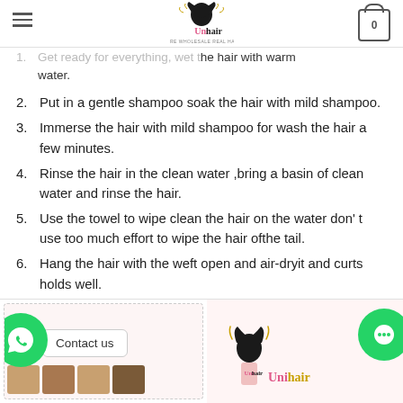UniHair
1. Get ready for everything, wet the hair with warm water.
2. Put in a gentle shampoo soak the hair with mild shampoo.
3. Immerse the hair with mild shampoo for wash the hair a few minutes.
4. Rinse the hair in the clean water ,bring a basin of clean water and rinse the hair.
5. Use the towel to wipe clean the hair on the water don't use too much effort to wipe the hair ofthe tail.
6. Hang the hair with the weft open and air-dryit and curts holds well.
[Figure (screenshot): Footer area with WhatsApp contact button labeled 'Contact us', hair product thumbnail images, UniHair logo, and chat button]